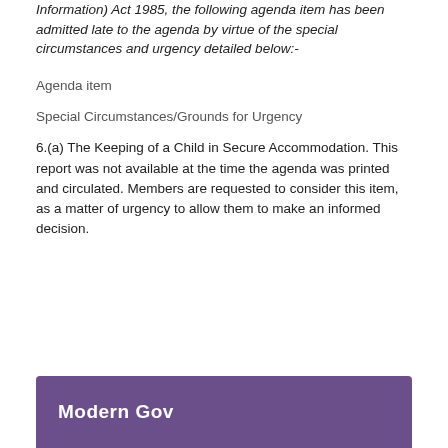Information) Act 1985, the following agenda item has been admitted late to the agenda by virtue of the special circumstances and urgency detailed below:-
Agenda item
Special Circumstances/Grounds for Urgency
6.(a) The Keeping of a Child in Secure Accommodation. This report was not available at the time the agenda was printed and circulated.  Members are requested to consider this item, as a matter of urgency to allow them to make an informed decision.
Modern Gov